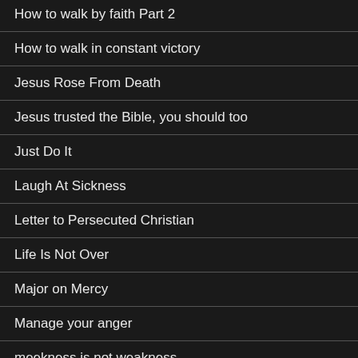How to walk by faith Part 2
How to walk in constant victory
Jesus Rose From Death
Jesus trusted the Bible, you should too
Just Do It
Laugh At Sickness
Letter to Persecuted Christian
Life Is Not Over
Major on Mercy
Manage your anger
meekness is not weakness.
Personalise God’s Word to Change Your Life
Power of Knowledge